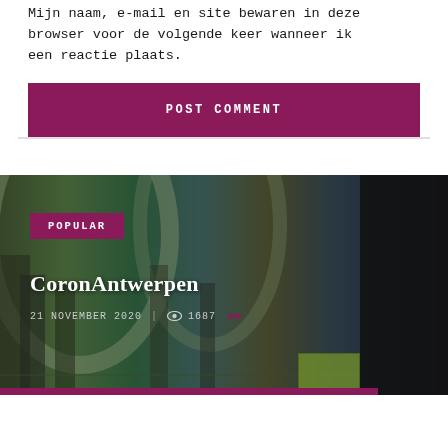Mijn naam, e-mail en site bewaren in deze browser voor de volgende keer wanneer ik een reactie plaats.
POST COMMENT
[Figure (photo): Interior of a grand historical train station or building with ornate arched ceilings, photographed with a dramatic green-lit ambiance. Dark right side panel.]
POPULAR
CoronAntwerpen
21 NOVEMBER 2020 | 👁 1687